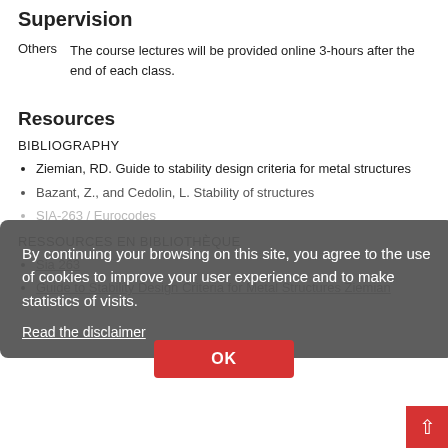Supervision
Others   The course lectures will be provided online 3-hours after the end of each class.
Resources
BIBLIOGRAPHY
Ziemian, RD. Guide to stability design criteria for metal structures
Bazant, Z., and Cedolin, L. Stability of structures
SIA-263 / Eurocodes
RESSOURCES EN BIBLIOTHÈQUE
Sia 263
Guide to Stability Design Criteria for Metal Structures Ziemian
By continuing your browsing on this site, you agree to the use of cookies to improve your user experience and to make statistics of visits.
Read the disclaimer
OK